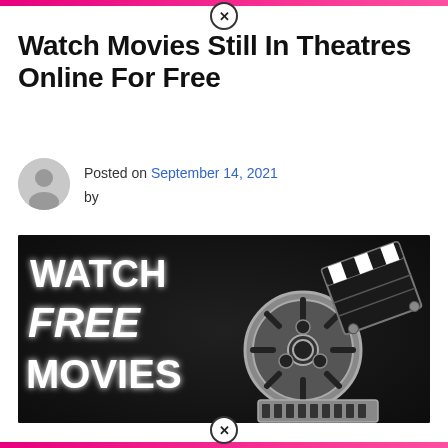Watch Movies Still In Theatres Online For Free
Posted on September 14, 2021 by
[Figure (illustration): Promotional graphic with dark background showing text 'WATCH FREE MOVIES' in large white/glowing letters on the left, and a film reel with a clapperboard on the right side, styled for a free movie streaming promotion.]